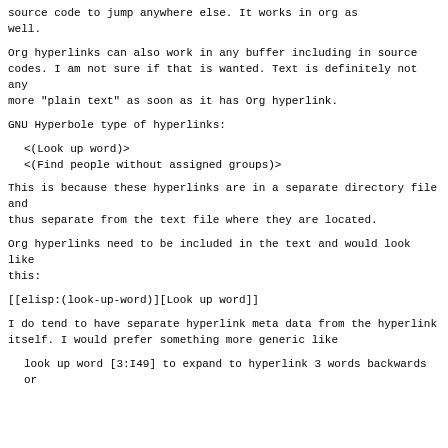source code to jump anywhere else. It works in org as well.
Org hyperlinks can also work in any buffer including in source codes. I am not sure if that is wanted. Text is definitely not any more "plain text" as soon as it has Org hyperlink.
GNU Hyperbole type of hyperlinks:
<(Look up word)>
<(Find people without assigned groups)>
This is because these hyperlinks are in a separate directory file and thus separate from the text file where they are located.
Org hyperlinks need to be included in the text and would look like this:
[[elisp:(look-up-word)][Look up word]]
I do tend to have separate hyperlink meta data from the hyperlink itself. I would prefer something more generic like
look up word [3:I49] to expand to hyperlink 3 words backwards or